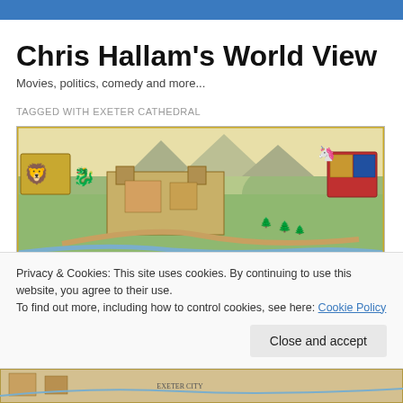Chris Hallam's World View
Movies, politics, comedy and more...
TAGGED WITH EXETER CATHEDRAL
[Figure (illustration): Historic illustrated bird's-eye map of Exeter showing cathedral grounds, heraldic shields with lion and red dragon on left, coat of arms with unicorn and dragon on right, rolling hills in background]
Privacy & Cookies: This site uses cookies. By continuing to use this website, you agree to their use.
To find out more, including how to control cookies, see here: Cookie Policy
[Figure (illustration): Bottom strip of another historic illustrated map of Exeter, partially visible]